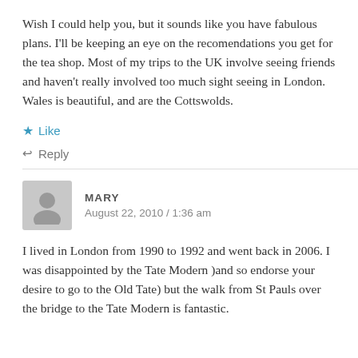Wish I could help you, but it sounds like you have fabulous plans. I'll be keeping an eye on the recomendations you get for the tea shop. Most of my trips to the UK involve seeing friends and haven't really involved too much sight seeing in London. Wales is beautiful, and are the Cottswolds.
Like
Reply
MARY
August 22, 2010 / 1:36 am
I lived in London from 1990 to 1992 and went back in 2006. I was disappointed by the Tate Modern )and so endorse your desire to go to the Old Tate) but the walk from St Pauls over the bridge to the Tate Modern is fantastic.